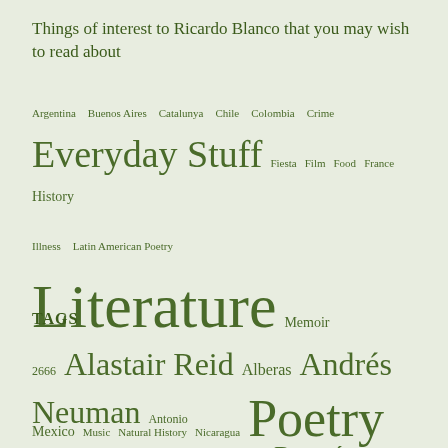Things of interest to Ricardo Blanco that you may wish to read about
Argentina  Buenos Aires  Catalunya  Chile  Colombia  Crime  Everyday Stuff  Fiesta  Film  Food  France  History  Illness  Latin American Poetry  Literature  Memoir  Mexico  Music  Natural History  Nicaragua  Poetry  Politics  Rugby  Short Story  Spain  The Novel  Translation  Travel  Visual Arts  Wales
TAGS
2666  Alastair Reid  Alberas  Andrés Neuman  Antonio Machado  Argentina  Black Mountains  Bogotá  Buenos